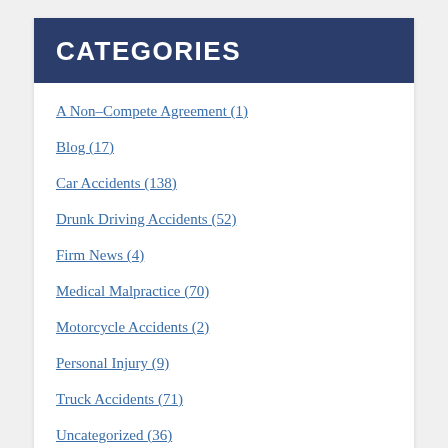CATEGORIES
A Non-Compete Agreement (1)
Blog (17)
Car Accidents (138)
Drunk Driving Accidents (52)
Firm News (4)
Medical Malpractice (70)
Motorcycle Accidents (2)
Personal Injury (9)
Truck Accidents (71)
Uncategorized (36)